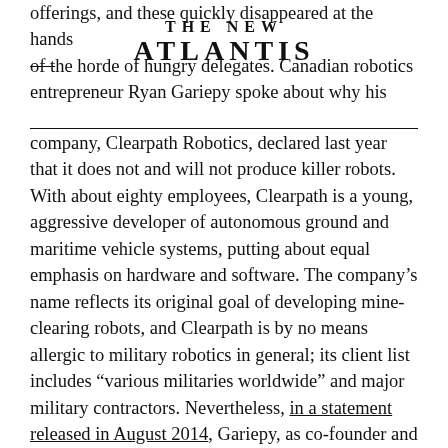THE NEW ATLANTIS
offerings, and these quickly disappeared at the hands of the horde of hungry delegates. Canadian robotics entrepreneur Ryan Gariepy spoke about why his
company, Clearpath Robotics, declared last year that it does not and will not produce killer robots. With about eighty employees, Clearpath is a young, aggressive developer of autonomous ground and maritime vehicle systems, putting about equal emphasis on hardware and software. The company’s name reflects its original goal of developing mine-clearing robots, and Clearpath is by no means allergic to military robotics in general; its client list includes “various militaries worldwide” and major military contractors. Nevertheless, in a statement released in August 2014, Gariepy, as co-founder and Chief Technology Officer, wrote, “To the people against killer robots: we support you.... Clearpath Robotics